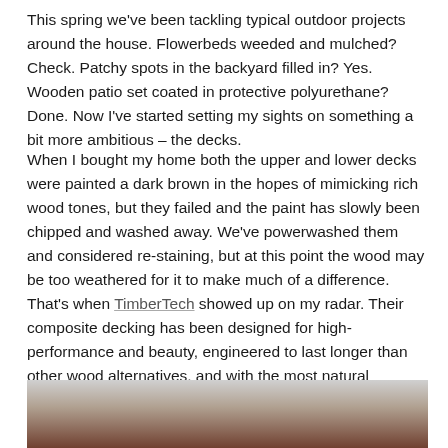This spring we've been tackling typical outdoor projects around the house. Flowerbeds weeded and mulched? Check. Patchy spots in the backyard filled in? Yes. Wooden patio set coated in protective polyurethane? Done. Now I've started setting my sights on something a bit more ambitious – the decks.
When I bought my home both the upper and lower decks were painted a dark brown in the hopes of mimicking rich wood tones, but they failed and the paint has slowly been chipped and washed away. We've powerwashed them and considered re-staining, but at this point the wood may be too weathered for it to make much of a difference. That's when TimberTech showed up on my radar. Their composite decking has been designed for high-performance and beauty, engineered to last longer than other wood alternatives, and with the most natural hardwood look.
[Figure (photo): Partial photo of a deck or home exterior, cropped at the bottom of the page]